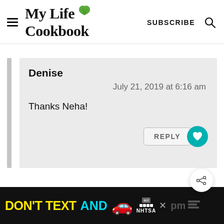My Life Cookbook | SUBSCRIBE
Denise
July 21, 2019 at 6:16 am
Thanks Neha!
[Figure (screenshot): Ad banner: DON'T TEXT AND [car emoji] ad NHTSA logo with close button]
DON'T TEXT AND [car] ad NHTSA